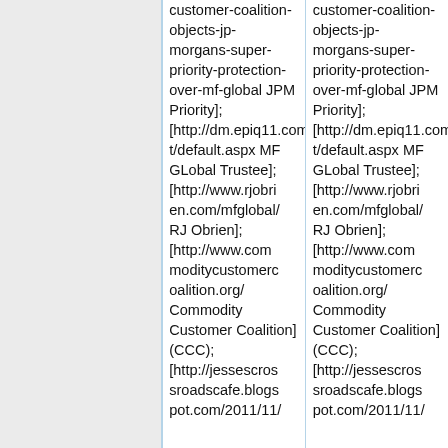customer-coalition-objects-jp-morgans-super-priority-protection-over-mf-global JPM Priority]; [http://dm.epiq11.com/MFG/Project/default.aspx MF GLobal Trustee]; [http://www.rjobrien.com/mfglobal/ RJ Obrien]; [http://www.commoditycustomercoalition.org/ Commodity Customer Coalition] (CCC); [http://jessescrossroadscafe.blogspot.com/2011/11/
customer-coalition-objects-jp-morgans-super-priority-protection-over-mf-global JPM Priority]; [http://dm.epiq11.com/MFG/Project/default.aspx MF GLobal Trustee]; [http://www.rjobrien.com/mfglobal/ RJ Obrien]; [http://www.commoditycustomercoalition.org/ Commodity Customer Coalition] (CCC); [http://jessescrossroadscafe.blogspot.com/2011/11/